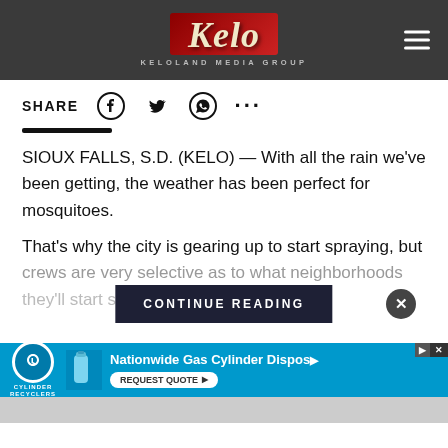Keloland Media Group
SHARE
SIOUX FALLS, S.D. (KELO) — With all the rain we've been getting, the weather has been perfect for mosquitoes.
That's why the city is gearing up to start spraying, but crews are very selective as to what neighborhoods they'll start sp...
[Figure (screenshot): CONTINUE READING button overlay with X close button]
[Figure (screenshot): Advertisement banner for Cylinder Recyclers - Nationwide Gas Cylinder Disposal, Request Quote button]